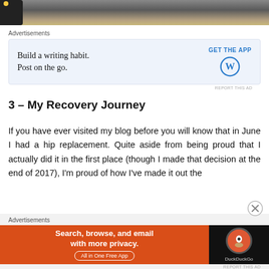[Figure (photo): Partial view of a vehicle wheel/tire with dusty ground in background]
Advertisements
[Figure (screenshot): WordPress advertisement: Build a writing habit. Post on the go. GET THE APP with WordPress logo]
3 – My Recovery Journey
If you have ever visited my blog before you will know that in June I had a hip replacement.  Quite aside from being proud that I actually did it in the first place (though I made that decision at the end of 2017), I'm proud of how I've made it out the
Advertisements
[Figure (screenshot): DuckDuckGo advertisement: Search, browse, and email with more privacy. All in One Free App]